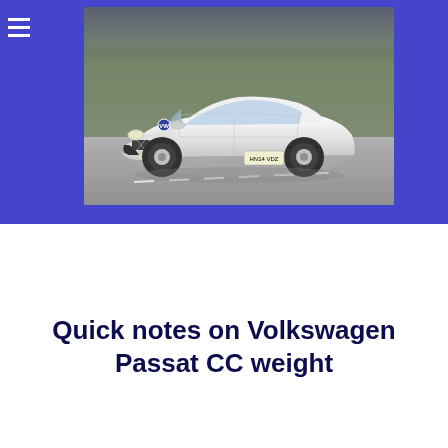[Figure (photo): A white Volkswagen Passat CC driving on a road, photographed from the front-left angle, with trees/greenery in the background. The car has a UK license plate reading HN14 VDZ.]
Quick notes on Volkswagen Passat CC weight